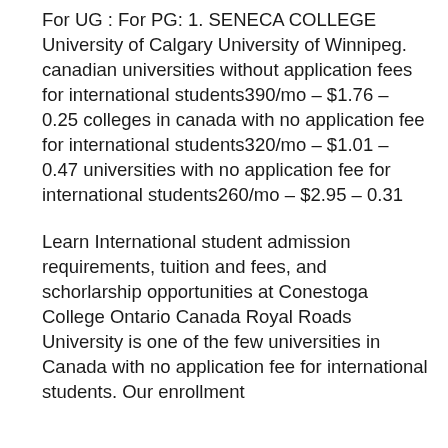For UG : For PG: 1. SENECA COLLEGE University of Calgary University of Winnipeg. canadian universities without application fees for international students390/mo – $1.76 – 0.25 colleges in canada with no application fee for international students320/mo – $1.01 – 0.47 universities with no application fee for international students260/mo – $2.95 – 0.31
Learn International student admission requirements, tuition and fees, and schorlarship opportunities at Conestoga College Ontario Canada Royal Roads University is one of the few universities in Canada with no application fee for international students. Our enrollment